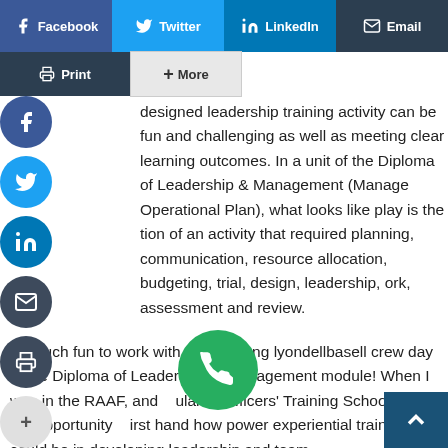[Figure (screenshot): Social media share buttons bar: Facebook (blue), Twitter (blue), LinkedIn (blue), Email (dark). Second row: Print (dark), + More (grey). Floating circular social icons on left side: Facebook, Twitter, LinkedIn, Email, Print, More. Green phone circle and dark scroll-to-top arrow button.]
designed leadership training activity can be fun and challenging as well as meeting clear learning outcomes. In a unit of the Diploma of Leadership & Management (Manage Operational Plan), what looks like play is the tion of an activity that required planning, communication, resource allocation, budgeting, trial, design, leadership, ork, assessment and review.
so much fun to work with the Geelong lyondellbasell crew day in the Diploma of Leadership & Management module! When I was in the RAAF, and ular at Officers' Training School, I had the opportunity irst hand how power experiential training could be in developing leadership and team